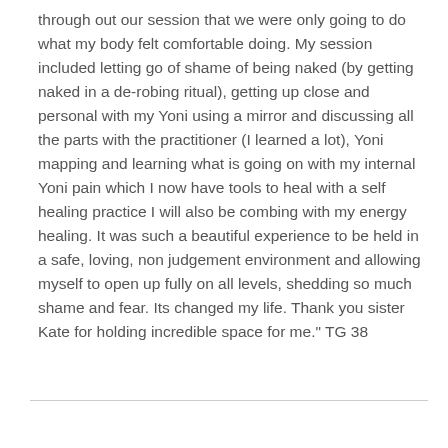through out our session that we were only going to do what my body felt comfortable doing. My session included letting go of shame of being naked (by getting naked in a de-robing ritual), getting up close and personal with my Yoni using a mirror and discussing all the parts with the practitioner (I learned a lot), Yoni mapping and learning what is going on with my internal Yoni pain which I now have tools to heal with a self healing practice I will also be combing with my energy healing. It was such a beautiful experience to be held in a safe, loving, non judgement environment and allowing myself to open up fully on all levels, shedding so much shame and fear. Its changed my life. Thank you sister Kate for holding incredible space for me." TG 38